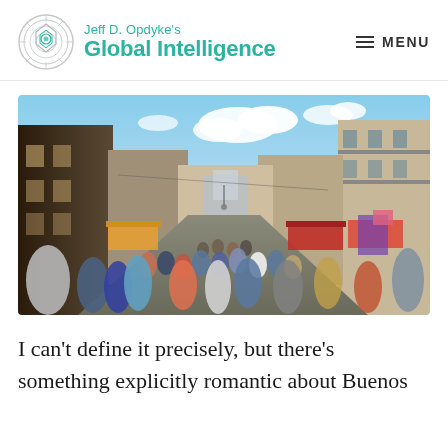Jeff D. Opdyke's Global Intelligence | MENU
[Figure (photo): Crowded pedestrian street in Buenos Aires with colonial architecture on both sides, market stalls, colorful displays, and many people walking under a blue sky with clouds.]
I can't define it precisely, but there's something explicitly romantic about Buenos